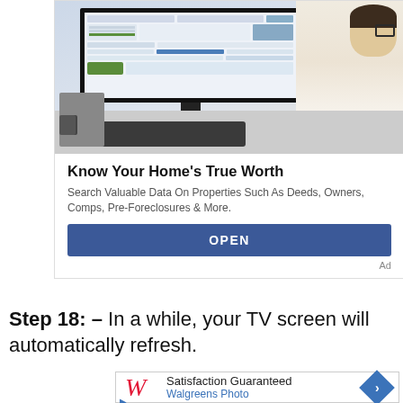[Figure (screenshot): Advertisement banner showing a person sitting at a desktop computer displaying real estate/property data website. A keyboard, calculator, and desk accessories are visible. Below the image is ad copy with title 'Know Your Home's True Worth', description text, and a blue OPEN button. An 'Ad' label appears at bottom right.]
Know Your Home's True Worth
Search Valuable Data On Properties Such As Deeds, Owners, Comps, Pre-Foreclosures & More.
OPEN
Ad
Step 18: – In a while, your TV screen will automatically refresh.
[Figure (screenshot): Walgreens Photo advertisement banner showing the Walgreens script logo in red, 'Satisfaction Guaranteed' text, 'Walgreens Photo' in blue, and a blue diamond-shaped navigation icon.]